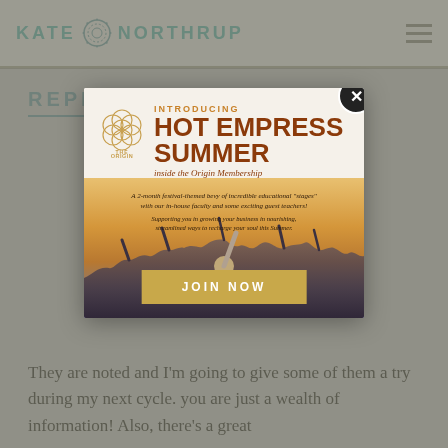KATE NORTHRUP
REPLY
[Figure (screenshot): Modal popup advertisement for 'Hot Empress Summer' inside the Origin Membership by The Origin Company. Shows INTRODUCING / HOT EMPRESS SUMMER / inside the Origin Membership, with text: 'A 2-month festival-themed bevy of incredible educational "stages" with our in-house faculty and some exciting guest teachers!' and 'Supporting you in growing your business in nourishing, streamlined ways to recharge your soul this Summer.' A JOIN NOW button at the bottom. Background shows a festival crowd. Close button (X) in top right.]
They are noted and I'm going to give some of them a try during my next cycle. you are just a wealth of information! Also, there's a great